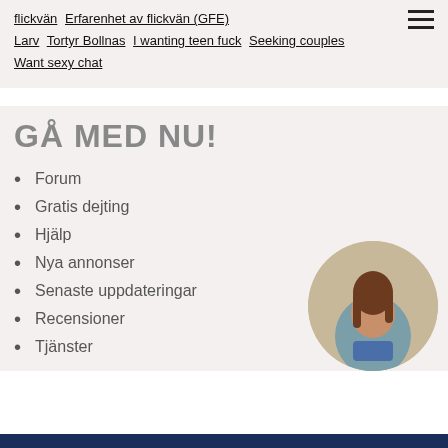flickvän  Erfarenhet av flickvän (GFE)  Larv  Tortyr Bollnas  I wanting teen fuck  Seeking couples  Want sexy chat
GÅ MED NU!
Forum
Gratis dejting
Hjälp
Nya annonser
Senaste uppdateringar
Recensioner
Tjänster
[Figure (photo): Circular cropped photo of a woman with brown hair wearing a teal top and denim shorts, viewed from behind/side]